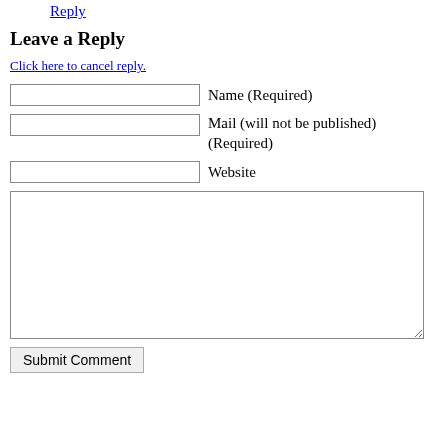Reply
Leave a Reply
Click here to cancel reply.
Name (Required)
Mail (will not be published) (Required)
Website
[textarea]
Submit Comment